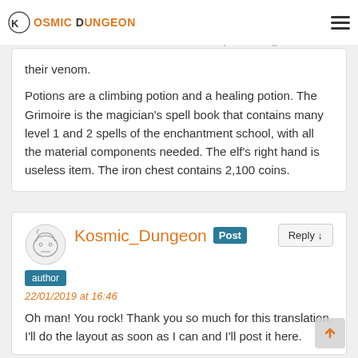Kosmic Dungeon
busy filling their pockets, 7 large spiders will attack them. Their bite does not represent a great danger; the problem with these small critters is their venom.
Potions are a climbing potion and a healing potion. The Grimoire is the magician's spell book that contains many level 1 and 2 spells of the enchantment school, with all the material components needed. The elf's right hand is useless item. The iron chest contains 2,100 coins.
Kosmic_Dungeon Post author 22/01/2019 at 16:46 Oh man! You rock! Thank you so much for this translation. I'll do the layout as soon as I can and I'll post it here.